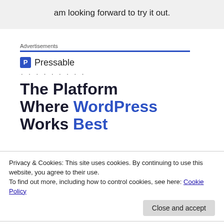am looking forward to try it out.
Advertisements
[Figure (logo): Pressable logo with blue P icon and brand name]
. . . . . . . . .
The Platform Where WordPress Works Best
Privacy & Cookies: This site uses cookies. By continuing to use this website, you agree to their use.
To find out more, including how to control cookies, see here: Cookie Policy
Close and accept
Thank you for your nice SharePointing. 🙂